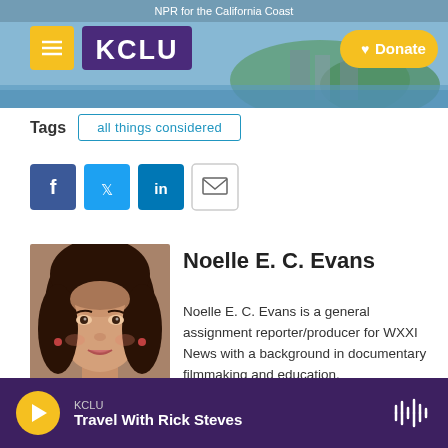[Figure (screenshot): KCLU NPR for the California Coast website header with logo, hamburger menu, and Donate button over a coastal city background image]
Tags
all things considered
[Figure (infographic): Social sharing buttons: Facebook, Twitter, LinkedIn, and Email]
[Figure (photo): Headshot photo of Noelle E. C. Evans, a woman with dark wavy hair]
Noelle E. C. Evans
Noelle E. C. Evans is a general assignment reporter/producer for WXXI News with a background in documentary filmmaking and education.
KCLU Travel With Rick Steves